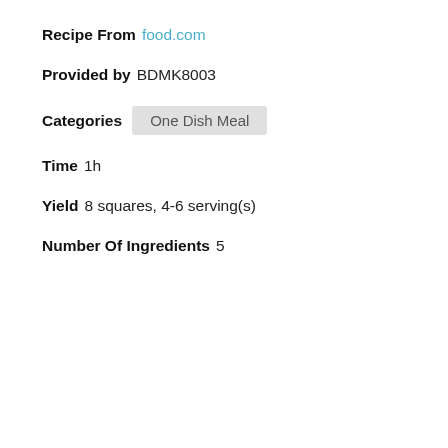Recipe From food.com
Provided by BDMK8003
Categories One Dish Meal
Time 1h
Yield 8 squares, 4-6 serving(s)
Number Of Ingredients 5